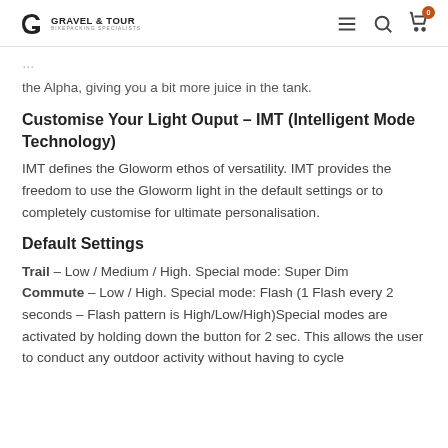GRAVEL & TOUR BIKEPACKING SPECIALISTS
the Alpha, giving you a bit more juice in the tank.
Customise Your Light Ouput – IMT (Intelligent Mode Technology)
IMT defines the Gloworm ethos of versatility. IMT provides the freedom to use the Gloworm light in the default settings or to completely customise for ultimate personalisation.
Default Settings
Trail – Low / Medium / High. Special mode: Super Dim
Commute – Low / High. Special mode: Flash (1 Flash every 2 seconds – Flash pattern is High/Low/High)Special modes are activated by holding down the button for 2 sec. This allows the user to conduct any outdoor activity without having to cycle